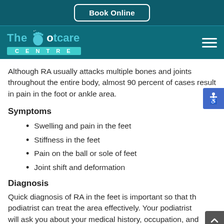Book Online
[Figure (logo): The Footcare Centre logo with teal foot icon]
Although RA usually attacks multiple bones and joints throughout the entire body, almost 90 percent of cases result in pain in the foot or ankle area.
Symptoms
Swelling and pain in the feet
Stiffness in the feet
Pain on the ball or sole of feet
Joint shift and deformation
Diagnosis
Quick diagnosis of RA in the feet is important so that the podiatrist can treat the area effectively. Your podiatrist will ask you about your medical history, occupation, and